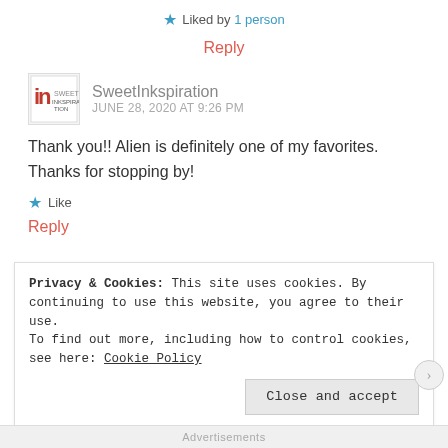★ Liked by 1 person
Reply
SweetInkspiration
JUNE 28, 2020 AT 9:26 PM
Thank you!! Alien is definitely one of my favorites. Thanks for stopping by!
★ Like
Reply
Privacy & Cookies: This site uses cookies. By continuing to use this website, you agree to their use.
To find out more, including how to control cookies, see here: Cookie Policy
Close and accept
Advertisements